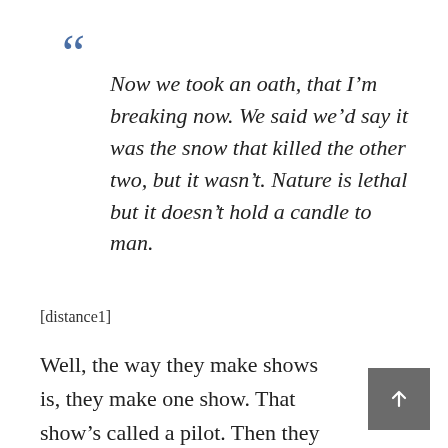“
Now we took an oath, that I’m breaking now. We said we’d say it was the snow that killed the other two, but it wasn’t. Nature is lethal but it doesn’t hold a candle to man.
[distance1]
Well, the way they make shows is, they make one show. That show’s called a pilot. Then they show that show to the people who